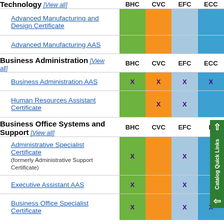Technology [View all]
Advanced Manufacturing and Design Certificate
Advanced Manufacturing AAS
Business Administration [View all]
| Program | BHC | CVC | EFC | ECC |
| --- | --- | --- | --- | --- |
| Business Administration AAS | X | X | X | X |
| Human Resources Assistant Certificate |  | X | X |  |
Business Office Systems and Support [View all]
| Program | BHC | CVC | EFC | ECC |
| --- | --- | --- | --- | --- |
| Administrative Specialist Certificate (formerly Administrative Support Certificate) | X |  | X |  |
| Executive Assistant AAS | X |  | X |  |
| Business Office Specialist Certificate | X |  | X | X |